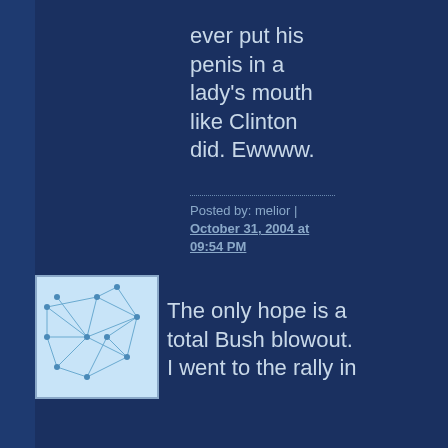ever put his penis in a lady's mouth like Clinton did. Ewwww.
Posted by: melior | October 31, 2004 at 09:54 PM
[Figure (illustration): Small avatar icon showing a blue-white network/map graphic]
The only hope is a total Bush blowout. I went to the rally in